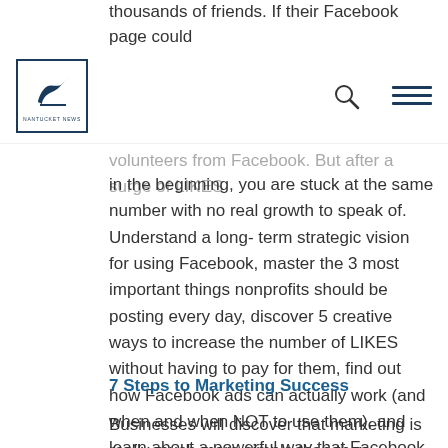thousands of friends. If their Facebook page could
[Logo] [Search] [Menu]
volunteers from Facebook. But after a surge of LIKES in the beginning, you are stuck at the same number with no real growth to speak of. Understand a long-term strategic vision for using Facebook, master the 3 most important things nonprofits should be posting every day, discover 5 creative ways to increase the number of LIKES without having to pay for them, find out how Facebook ads can actually work (and when and when NOT to use them), and learn about a powerful way that Facebook can help you showcase the stories and vision of your organization.
7 Steps to Marketing Success
Businesses will discover that marketing is really much more simple than they thought. They will learn